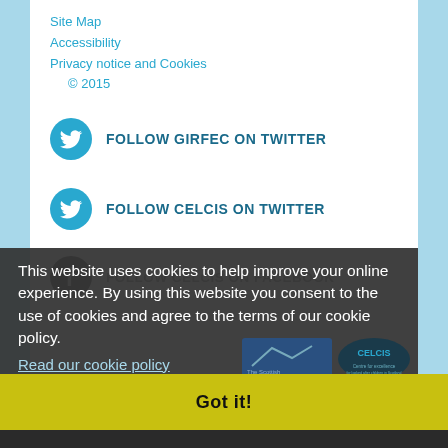Site Map
Accessibility
Privacy notice and Cookies
© 2015
FOLLOW GIRFEC ON TWITTER
FOLLOW CELCIS ON TWITTER
FOLLOW CELCIS ON FACEBOOK
This website uses cookies to help improve your online experience. By using this website you consent to the use of cookies and agree to the terms of our cookie policy. Read our cookie policy
Got it!